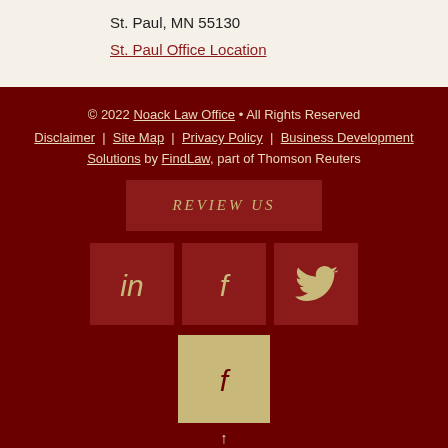St. Paul, MN 55130
St. Paul Office Location
© 2022 Noack Law Office • All Rights Reserved
Disclaimer | Site Map | Privacy Policy | Business Development Solutions by FindLaw, part of Thomson Reuters
REVIEW US
[Figure (illustration): LinkedIn, Facebook, and Twitter social media icon buttons in dark red boxes with gold icons]
[Figure (illustration): Facebook icon button in tan/gold box with dark red icon]
↑
Consulte nuestra página de Facebook en español